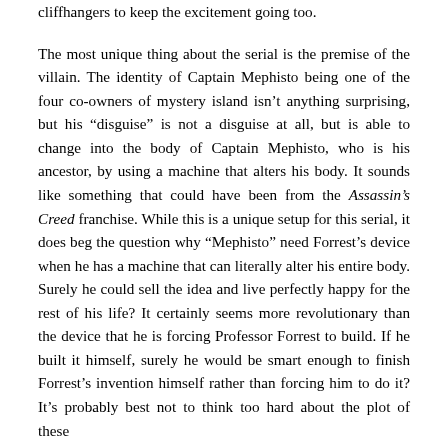cliffhangers to keep the excitement going too.
The most unique thing about the serial is the premise of the villain. The identity of Captain Mephisto being one of the four co-owners of mystery island isn't anything surprising, but his “disguise” is not a disguise at all, but is able to change into the body of Captain Mephisto, who is his ancestor, by using a machine that alters his body. It sounds like something that could have been from the Assassin’s Creed franchise. While this is a unique setup for this serial, it does beg the question why “Mephisto” need Forrest’s device when he has a machine that can literally alter his entire body. Surely he could sell the idea and live perfectly happy for the rest of his life? It certainly seems more revolutionary than the device that he is forcing Professor Forrest to build. If he built it himself, surely he would be smart enough to finish Forrest’s invention himself rather than forcing him to do it? It’s probably best not to think too hard about the plot of these